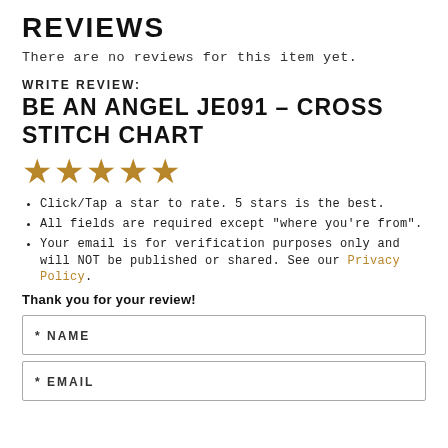REVIEWS
There are no reviews for this item yet.
WRITE REVIEW:
BE AN ANGEL JE091 – CROSS STITCH CHART
[Figure (other): Five gold/amber star rating icons displayed in a row]
Click/Tap a star to rate. 5 stars is the best.
All fields are required except "where you're from".
Your email is for verification purposes only and will NOT be published or shared. See our Privacy Policy.
Thank you for your review!
* NAME
* EMAIL